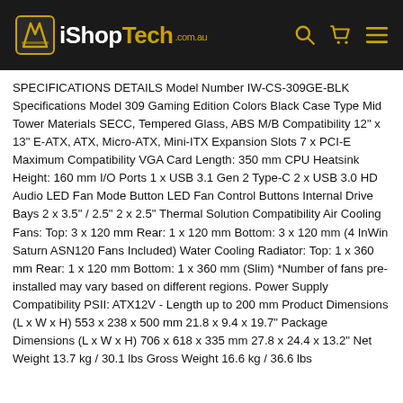iShopTech.com.au
SPECIFICATIONS DETAILS Model Number IW-CS-309GE-BLK Specifications Model 309 Gaming Edition Colors Black Case Type Mid Tower Materials SECC, Tempered Glass, ABS M/B Compatibility 12" x 13" E-ATX, ATX, Micro-ATX, Mini-ITX Expansion Slots 7 x PCI-E Maximum Compatibility VGA Card Length: 350 mm CPU Heatsink Height: 160 mm I/O Ports 1 x USB 3.1 Gen 2 Type-C 2 x USB 3.0 HD Audio LED Fan Mode Button LED Fan Control Buttons Internal Drive Bays 2 x 3.5" / 2.5" 2 x 2.5" Thermal Solution Compatibility Air Cooling Fans: Top: 3 x 120 mm Rear: 1 x 120 mm Bottom: 3 x 120 mm (4 InWin Saturn ASN120 Fans Included) Water Cooling Radiator: Top: 1 x 360 mm Rear: 1 x 120 mm Bottom: 1 x 360 mm (Slim) *Number of fans pre-installed may vary based on different regions. Power Supply Compatibility PSII: ATX12V - Length up to 200 mm Product Dimensions (L x W x H) 553 x 238 x 500 mm 21.8 x 9.4 x 19.7" Package Dimensions (L x W x H) 706 x 618 x 335 mm 27.8 x 24.4 x 13.2" Net Weight 13.7 kg / 30.1 lbs Gross Weight 16.6 kg / 36.6 lbs